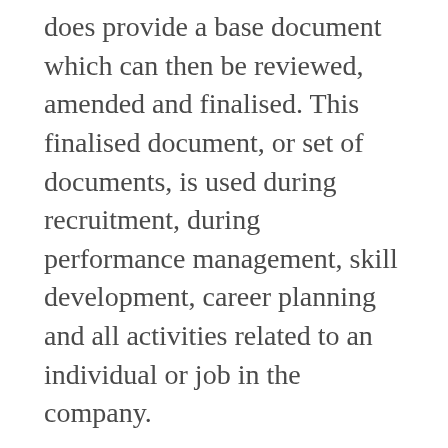does provide a base document which can then be reviewed, amended and finalised. This finalised document, or set of documents, is used during recruitment, during performance management, skill development, career planning and all activities related to an individual or job in the company.
The organisation structure and work flow is a section that must be available and must have been reviewed and approved by senior owners/managers in the firm. On acquiring these (organisation chart, work flow, individual descriptions), the first milestone